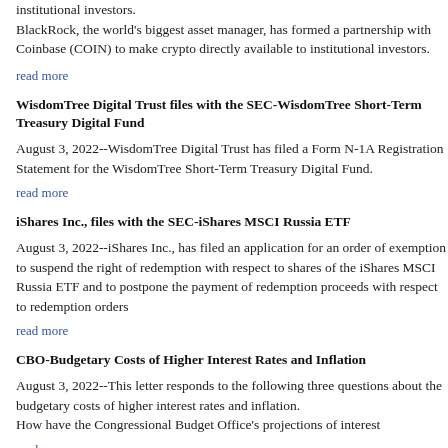institutional investors.
BlackRock, the world's biggest asset manager, has formed a partnership with Coinbase (COIN) to make crypto directly available to institutional investors.
read more
WisdomTree Digital Trust files with the SEC-WisdomTree Short-Term Treasury Digital Fund
August 3, 2022--WisdomTree Digital Trust has filed a Form N-1A Registration Statement for the WisdomTree Short-Term Treasury Digital Fund.
read more
iShares Inc., files with the SEC-iShares MSCI Russia ETF
August 3, 2022--iShares Inc., has filed an application for an order of exemption to suspend the right of redemption with respect to shares of the iShares MSCI Russia ETF and to postpone the payment of redemption proceeds with respect to redemption orders...
read more
CBO-Budgetary Costs of Higher Interest Rates and Inflation
August 3, 2022--This letter responds to the following three questions about the budgetary costs of higher interest rates and inflation.
How have the Congressional Budget Office's projections of interest...
read more
J.P. Morgan Exchange-Traded Fund Trust files with the SEC-JPMorgan Active...
August 3, 2022--J.P. Morgan Exchange-Traded Fund Trust has filed...